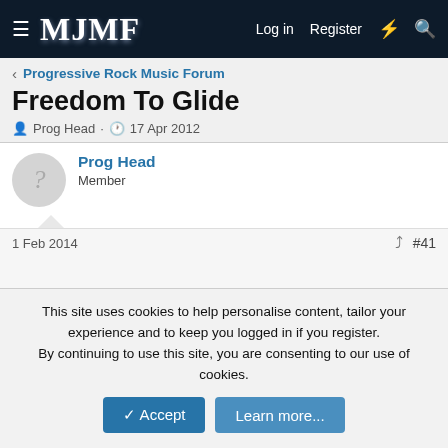MJMF — Log in  Register
Progressive Rock Music Forum
Freedom To Glide
Prog Head · 17 Apr 2012
Prog Head
Member
1 Feb 2014  #41
Prog Head
Member
This site uses cookies to help personalise content, tailor your experience and to keep you logged in if you register.
By continuing to use this site, you are consenting to our use of cookies.